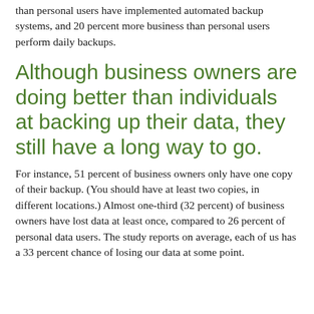than personal users have implemented automated backup systems, and 20 percent more business than personal users perform daily backups.
Although business owners are doing better than individuals at backing up their data, they still have a long way to go.
For instance, 51 percent of business owners only have one copy of their backup. (You should have at least two copies, in different locations.) Almost one-third (32 percent) of business owners have lost data at least once, compared to 26 percent of personal data users. The study reports on average, each of us has a 33 percent chance of losing our data at some point.